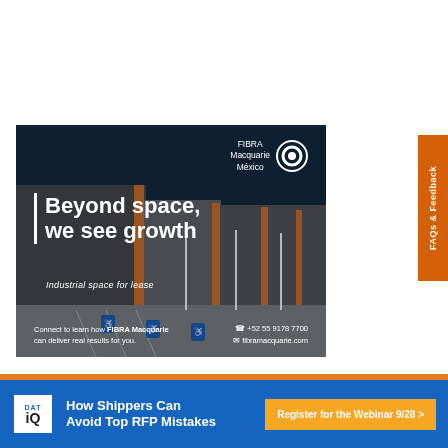[Figure (photo): FIBRA Macquarie México advertisement showing industrial warehouse building with orange pillars, parking lot with accessibility signs. Text: 'Beyond space, we see growth. Industrial space for lease. Connect to learn how FIBRA Macquarie can deliver real results for you. +52 55 9178 7700, fibramacquarie.com']
[Figure (other): FAQs & Feedback orange vertical tab on right side]
[Figure (other): DAT iQ advertisement banner: 'How Shippers Can Avoid Top RFP Mistakes. Register for the Webinar 9/28 >']